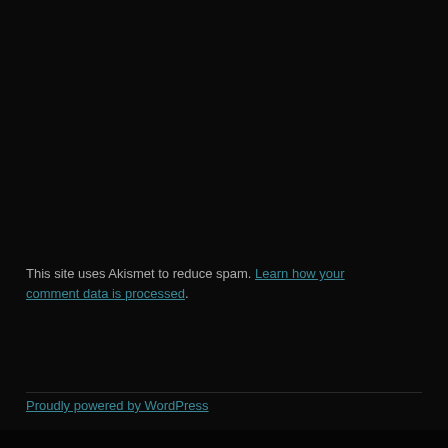This site uses Akismet to reduce spam. Learn how your comment data is processed.
Proudly powered by WordPress